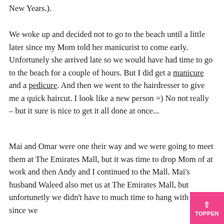New Years.).
We woke up and decided not to go to the beach until a little later since my Mom told her manicurist to come early. Unfortunely she arrived late so we would have had time to go to the beach for a couple of hours. But I did get a manicure and a pedicure. And then we went to the hairdresser to give me a quick haircut. I look like a new person =) No not really – but it sure is nice to get it all done at once...
Mai and Omar were one their way and we were going to meet them at The Emirates Mall, but it was time to drop Mom of at work and then Andy and I continued to the Mall. Mai's husband Waleed also met us at The Emirates Mall, but unfortunetly we didn't have to much time to hang with them since we